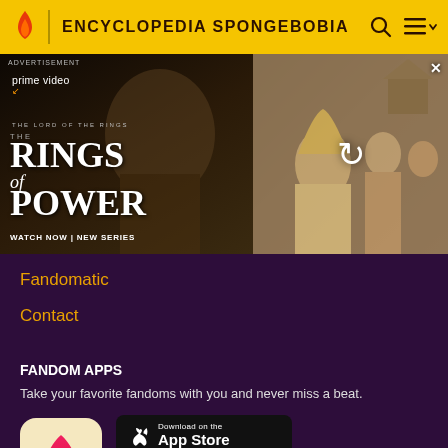ENCYCLOPEDIA SPONGEBOBIA
[Figure (screenshot): Amazon Prime Video advertisement for The Lord of the Rings: The Rings of Power. Left side shows a dark robed figure with text 'prime video', 'THE LORD OF THE RINGS THE RINGS OF POWER', 'WATCH NOW | NEW SERIES'. Right side shows a blonde woman and other figures with a refresh icon overlay.]
Fandomatic
Contact
FANDOM APPS
Take your favorite fandoms with you and never miss a beat.
[Figure (logo): Fandom app icon — pink/red flame with gold heart on beige background]
[Figure (screenshot): Download on the App Store button (black rounded rectangle)]
[Figure (screenshot): Get it on Google Play button (black rounded rectangle)]